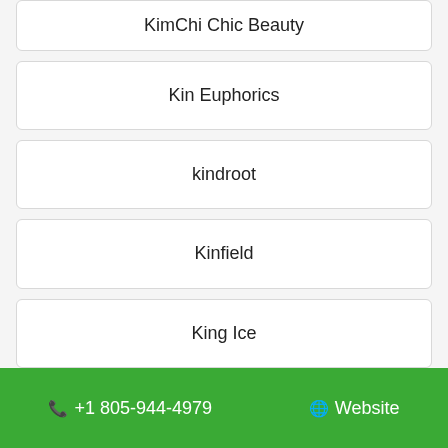KimChi Chic Beauty
Kin Euphorics
kindroot
Kinfield
King Ice
📞 +1 805-944-4979    🌐 Website